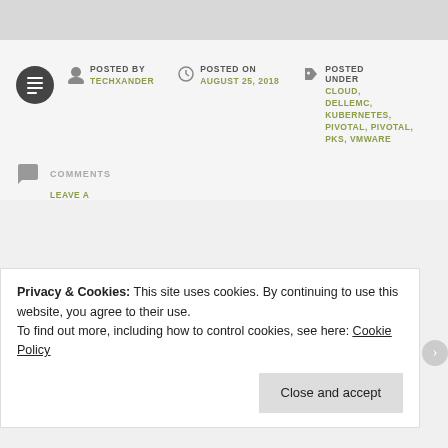POSTED BY TECHXANDER | POSTED ON AUGUST 25, 2018 | POSTED UNDER CLOUD, DELLEMC, KUBERNETES, PIVOTAL, PIVOTAL PKS, VMWARE
COMMENTS
LEAVE A
Privacy & Cookies: This site uses cookies. By continuing to use this website, you agree to their use.
To find out more, including how to control cookies, see here: Cookie Policy
Close and accept